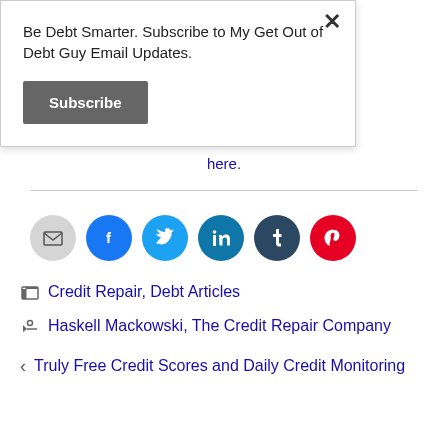Be Debt Smarter. Subscribe to My Get Out of Debt Guy Email Updates.
Subscribe
here.
[Figure (infographic): Row of social media share icons: email (gray), Facebook (blue), Twitter (cyan), LinkedIn (teal), Tumblr (dark blue), Pinterest (red)]
Credit Repair, Debt Articles
Haskell Mackowski, The Credit Repair Company
Truly Free Credit Scores and Daily Credit Monitoring